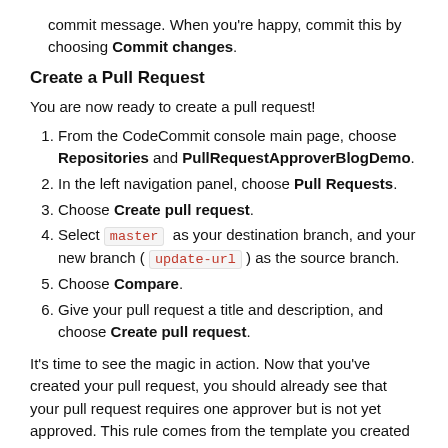commit message. When you're happy, commit this by choosing Commit changes.
Create a Pull Request
You are now ready to create a pull request!
From the CodeCommit console main page, choose Repositories and PullRequestApproverBlogDemo.
In the left navigation panel, choose Pull Requests.
Choose Create pull request.
Select master as your destination branch, and your new branch ( update-url ) as the source branch.
Choose Compare.
Give your pull request a title and description, and choose Create pull request.
It's time to see the magic in action. Now that you've created your pull request, you should already see that your pull request requires one approver but is not yet approved. This rule comes from the template you created and associated earlier.